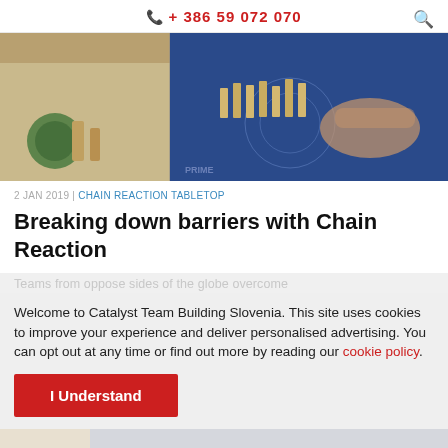+ 386 59 072 070
[Figure (photo): Two-panel image: left panel shows wooden pieces, green marble and tools on a table; right panel shows hands arranging wooden dominoes on a blue printed game board]
2 JAN 2019 | CHAIN REACTION TABLETOP
Breaking down barriers with Chain Reaction
Teams from oppose sides of the globe overcome
Welcome to Catalyst Team Building Slovenia. This site uses cookies to improve your experience and deliver personalised advertising. You can opt out at any time or find out more by reading our cookie policy.
I Understand
[Figure (photo): Partial bottom image strip showing a blurred light-colored scene]